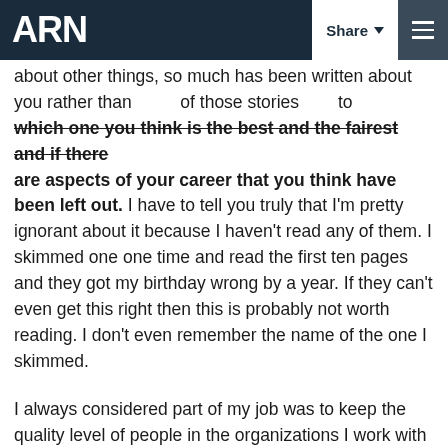ARN | Share | Menu
about other things, so much has been written about you rather than [reading] of those stories [going to] which one you think is the best and the fairest and if there are aspects of your career that you think have been left out. I have to tell you truly that I'm pretty ignorant about it because I haven't read any of them. I skimmed one one time and read the first ten pages and they got my birthday wrong by a year. If they can't even get this right then this is probably not worth reading. I don't even remember the name of the one I skimmed.
I always considered part of my job was to keep the quality level of people in the organizations I work with very high. That's what I consider one of the few things I actually can contribute individually -- to to really try to instill in the organization the goal of only having 'A' players. Because in this field, like in a lot of fields, the difference between the worst taxi cab driver and the best taxi cab driver to get you...